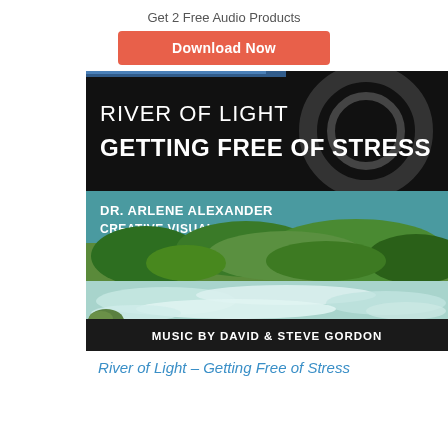Get 2 Free Audio Products
Download Now
[Figure (illustration): Album cover for 'River of Light – Getting Free of Stress' by Dr. Arlene Alexander (Creative Visualizations), music by David & Steve Gordon. Top half shows dark background with speaker cone and text overlay. Middle band is teal with author credits. Bottom shows rushing river rapids with lush green forest. Bottom band is dark with music credit.]
River of Light – Getting Free of Stress